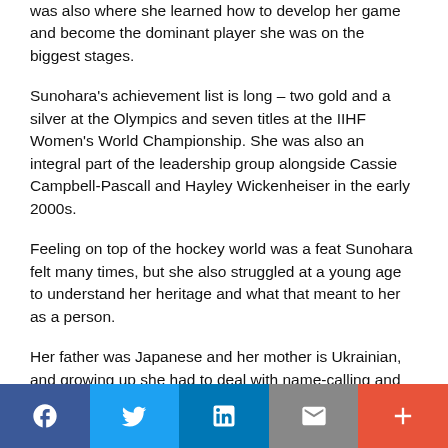was also where she learned how to develop her game and become the dominant player she was on the biggest stages.
Sunohara's achievement list is long – two gold and a silver at the Olympics and seven titles at the IIHF Women's World Championship. She was also an integral part of the leadership group alongside Cassie Campbell-Pascall and Hayley Wickenheiser in the early 2000s.
Feeling on top of the hockey world was a feat Sunohara felt many times, but she also struggled at a young age to understand her heritage and what that meant to her as a person.
Her father was Japanese and her mother is Ukrainian, and growing up she had to deal with name-calling and some bullying.
“There were definitely times when I felt like I wanted to